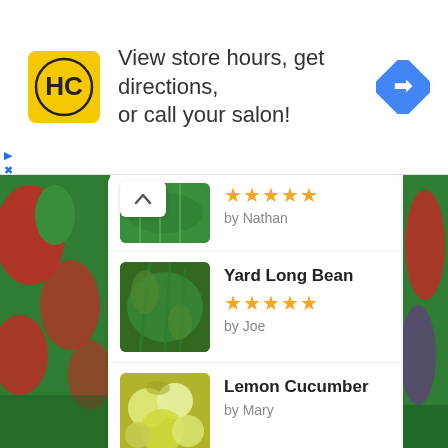[Figure (screenshot): Ad banner: HC logo, text 'View store hours, get directions, or call your salon!' with blue direction diamond icon]
[Figure (screenshot): Partial plant/greenery image with 5 gold stars rating and 'by Nathan']
Yard Long Bean — 5 stars by Joe
Lemon Cucumber by Mary